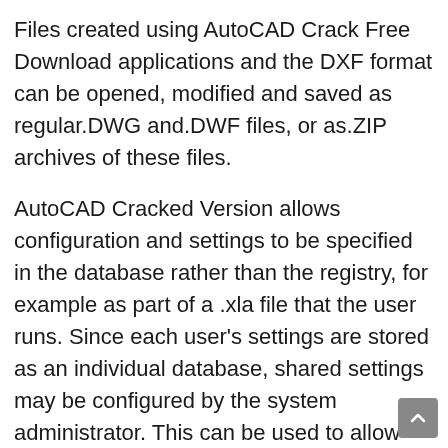Files created using AutoCAD Crack Free Download applications and the DXF format can be opened, modified and saved as regular.DWG and.DWF files, or as.ZIP archives of these files.
AutoCAD Cracked Version allows configuration and settings to be specified in the database rather than the registry, for example as part of a .xla file that the user runs. Since each user's settings are stored as an individual database, shared settings may be configured by the system administrator. This can be used to allow users to share information about the installed software, but keep data and settings separate.
AutoCAD Crack For Windows's object model (from the Basic module) is analogous to the COM and COM+, object mode